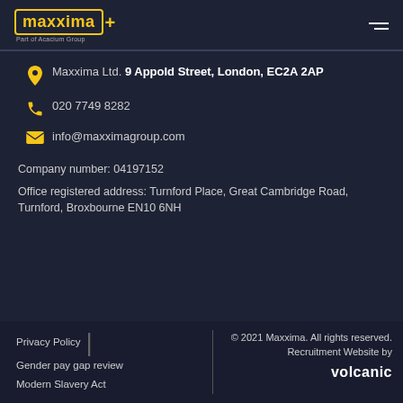[Figure (logo): Maxxima logo with yellow border and text, plus sign, 'Part of Acacium Group' subtitle. Hamburger menu icon top right.]
Maxxima Ltd. 9 Appold Street, London, EC2A 2AP
020 7749 8282
info@maxximagroup.com
Company number: 04197152
Office registered address: Turnford Place, Great Cambridge Road, Turnford, Broxbourne EN10 6NH
Privacy Policy | Gender pay gap review | Modern Slavery Act | © 2021 Maxxima. All rights reserved. Recruitment Website by volcanic